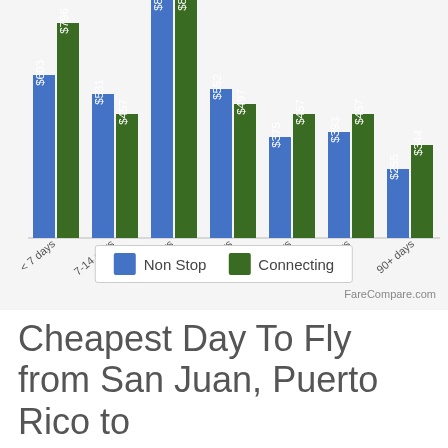[Figure (grouped-bar-chart): ]
FareCompare.com
Cheapest Day To Fly from San Juan, Puerto Rico to Nassau...